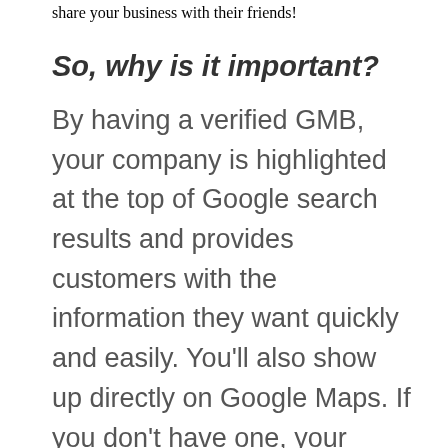share your business with their friends!
So, why is it important?
By having a verified GMB, your company is highlighted at the top of Google search results and provides customers with the information they want quickly and easily. You'll also show up directly on Google Maps. If you don't have one, your company won't pop up when customers search for companies like yours! If your company does show up on Google, but is not validated, others can claim your business on